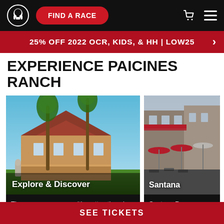FIND A RACE
25% OFF 2022 OCR, KIDS, & HH | LOW25
EXPERIENCE PAICINES RANCH
[Figure (photo): Victorian mansion with palm trees, labeled 'Explore & Discover']
There are so many exciting attractions in San Jose, you'll find no end to the fun.
[Figure (photo): Outdoor shopping area with umbrellas, labeled 'Santana']
Santana Row w over 50 shops
SEE TICKETS